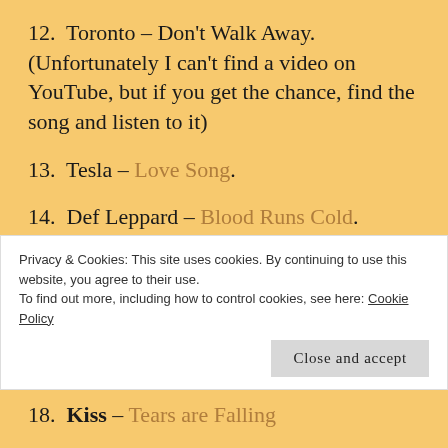12. Toronto – Don't Walk Away. (Unfortunately I can't find a video on YouTube, but if you get the chance, find the song and listen to it)
13. Tesla – Love Song.
14. Def Leppard – Blood Runs Cold.
15. Kix – Tear Down the Walls.
Privacy & Cookies: This site uses cookies. By continuing to use this website, you agree to their use. To find out more, including how to control cookies, see here: Cookie Policy
18. Kiss – Tears are Falling